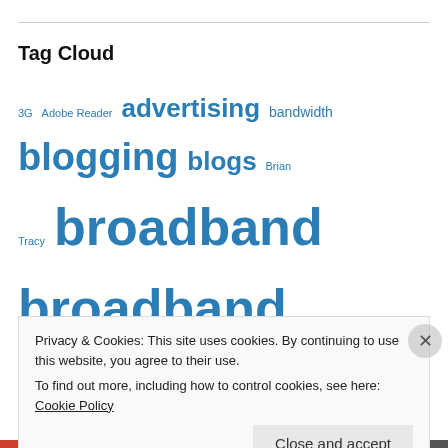Tag Cloud
[Figure (infographic): Tag cloud with terms related to broadband, internet, blogging, and web topics. Larger text indicates higher frequency: 'broadband', 'broadband internet', 'fibre optic' are largest; medium size: 'blogging', 'blogs', 'hosting', 'hover ads', 'advertising', 'domain', 'fibre optic cable'; smaller: '3G', 'Adobe Reader', 'bandwidth', 'Brian Tracy', 'CCK', 'charity', 'classic literature', 'creative writing', 'domaining', 'domain name', 'donate', 'dual boot', 'Eassy', 'ebay', 'Facebook', 'famous quotes', 'fiction writing', 'George Washington Carver', 'Google adwords', 'Google books', 'growth', 'hot spot']
Privacy & Cookies: This site uses cookies. By continuing to use this website, you agree to their use. To find out more, including how to control cookies, see here: Cookie Policy Close and accept